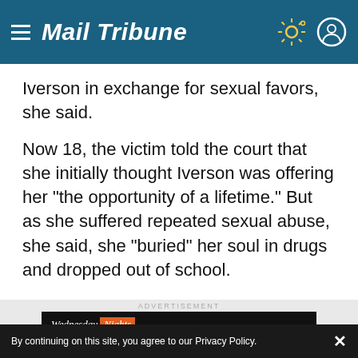Mail Tribune
Iverson in exchange for sexual favors, she said.
Now 18, the victim told the court that she initially thought Iverson was offering her "the opportunity of a lifetime." But as she suffered repeated sexual abuse, she said, she "buried" her soul in drugs and dropped out of school.
ADVERTISEMENT
[Figure (illustration): Wednesday Nights advertisement banner with orange and white text on black background]
By continuing on this site, you agree to our Privacy Policy.